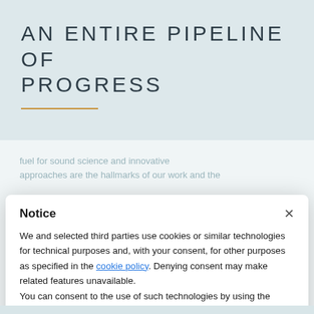AN ENTIRE PIPELINE OF PROGRESS
Notice
We and selected third parties use cookies or similar technologies for technical purposes and, with your consent, for other purposes as specified in the cookie policy. Denying consent may make related features unavailable.
You can consent to the use of such technologies by using the "Accept" button, by closing this notice, by interacting with any link or button outside of this notice or by continuing to browse otherwise.
Accept
Learn more and customize